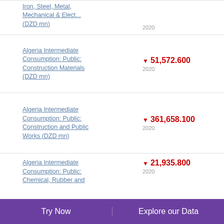Iron, Steel, Metal, Mechanical & Elect... (DZD mn)
Algeria Intermediate Consumption: Public: Construction Materials (DZD mn)
Algeria Intermediate Consumption: Public: Construction and Public Works (DZD mn)
Algeria Intermediate Consumption: Public: Chemical, Rubber and
Try Now  Explore our Data